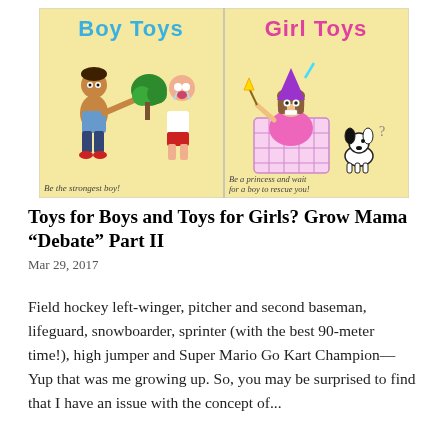[Figure (illustration): Comic illustration split into two panels. Left panel labeled 'Boy Toys' in blue letters shows a dark-skinned boy swinging a green broccoli/plant at a crying bald boy in a white shirt and red shorts. Caption reads 'Be the strongest boy!' Right panel labeled 'Girl Toys' in pink letters shows a girl in a pink dress sitting in a laundry basket wearing a purple party hat and holding a star wand, with a black-and-white dog nearby with a question mark. Caption reads 'Be a princess and wait for a boy to rescue you!' Both panels have a yellow/cream background.]
Toys for Boys and Toys for Girls? Grow Mama “Debate” Part II
Mar 29, 2017
Field hockey left-winger, pitcher and second baseman, lifeguard, snowboarder, sprinter (with the best 90-meter time!), high jumper and Super Mario Go Kart Champion—Yup that was me growing up. So, you may be surprised to find that I have an issue with the concept of...